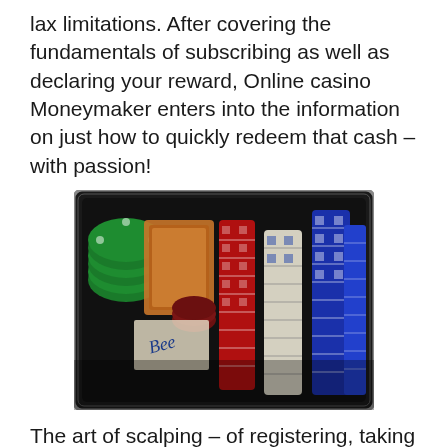lax limitations. After covering the fundamentals of subscribing as well as declaring your reward, Online casino Moneymaker enters into the information on just how to quickly redeem that cash – with passion!
[Figure (photo): A black case or tray filled with stacks of poker chips in red, blue, and green colors, along with playing cards (Bee brand). The chips are stacked vertically and arranged neatly in the case.]
The art of scalping – of registering, taking Vkiss918 the reward, as well as running –